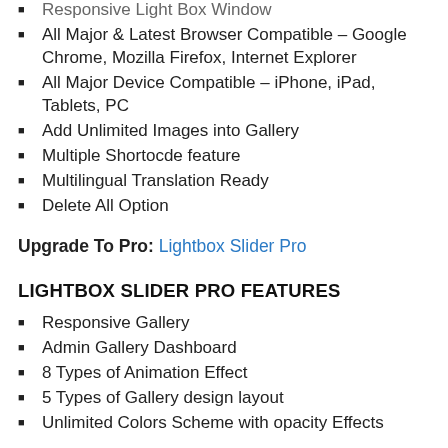Responsive Light Box Window
All Major & Latest Browser Compatible – Google Chrome, Mozilla Firefox, Internet Explorer
All Major Device Compatible – iPhone, iPad, Tablets, PC
Add Unlimited Images into Gallery
Multiple Shortocde feature
Multilingual Translation Ready
Delete All Option
Upgrade To Pro: Lightbox Slider Pro
LIGHTBOX SLIDER PRO FEATURES
Responsive Gallery
Admin Gallery Dashboard
8 Types of Animation Effect
5 Types of Gallery design layout
Unlimited Colors Scheme with opacity Effects